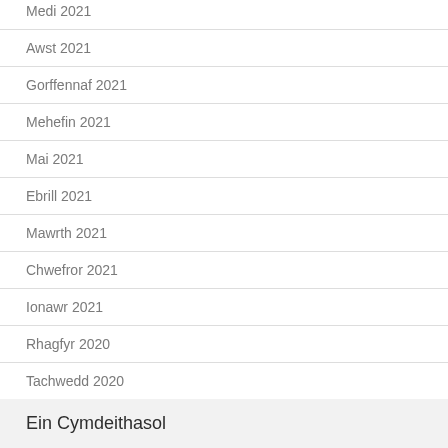Medi 2021
Awst 2021
Gorffennaf 2021
Mehefin 2021
Mai 2021
Ebrill 2021
Mawrth 2021
Chwefror 2021
Ionawr 2021
Rhagfyr 2020
Tachwedd 2020
Ein Cymdeithasol